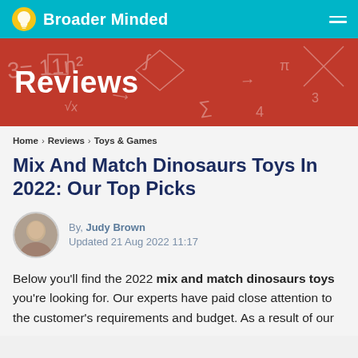Broader Minded
Reviews
Home > Reviews > Toys & Games
Mix And Match Dinosaurs Toys In 2022: Our Top Picks
By, Judy Brown
Updated 21 Aug 2022 11:17
Below you'll find the 2022 mix and match dinosaurs toys you're looking for. Our experts have paid close attention to the customer's requirements and budget. As a result of our